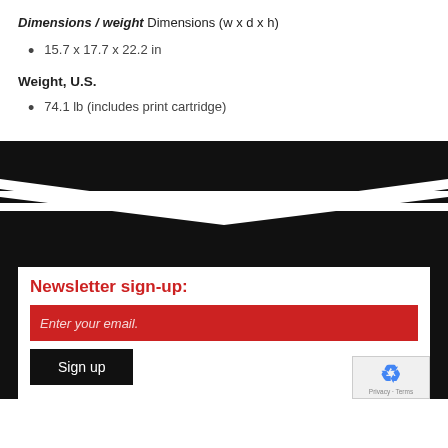Dimensions / weight Dimensions (w x d x h)
15.7 x 17.7 x 22.2 in
Weight, U.S.
74.1 lb (includes print cartridge)
[Figure (illustration): Decorative black and white angular wave/chevron banner graphic]
Newsletter sign-up:
Enter your email.
Sign up